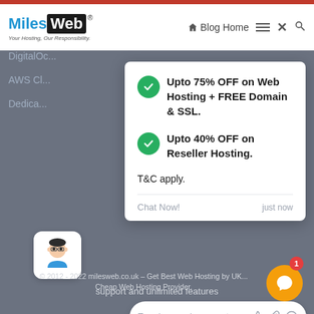[Figure (screenshot): MilesWeb website screenshot showing a promotional popup with offers: Upto 75% OFF on Web Hosting + FREE Domain & SSL, Upto 40% OFF on Reseller Hosting, T&C apply, with Chat Now and a message input area. Footer shows copyright 2012-2022 milesweb.co.uk.]
Upto 75% OFF on Web Hosting + FREE Domain & SSL.
Upto 40% OFF on Reseller Hosting.
T&C apply.
Chat Now!
just now
support and unlimited features
Type here and press enter..
© 2012 - 2022 milesweb.co.uk – Get Best Web Hosting by UK... Cheap Web Hosting Provider.